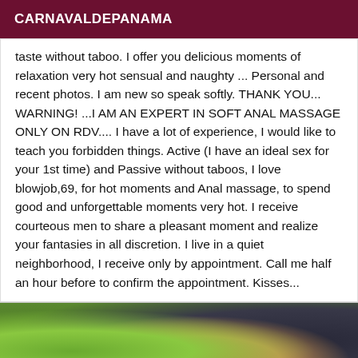CARNAVALDEPANAMA
taste without taboo. I offer you delicious moments of relaxation very hot sensual and naughty ... Personal and recent photos. I am new so speak softly. THANK YOU... WARNING! ...I AM AN EXPERT IN SOFT ANAL MASSAGE ONLY ON RDV.... I have a lot of experience, I would like to teach you forbidden things. Active (I have an ideal sex for your 1st time) and Passive without taboos, I love blowjob,69, for hot moments and Anal massage, to spend good and unforgettable moments very hot. I receive courteous men to share a pleasant moment and realize your fantasies in all discretion. I live in a quiet neighborhood, I receive only by appointment. Call me half an hour before to confirm the appointment. Kisses...
[Figure (photo): Outdoor photo of a person wearing a leopard-print outfit against a green leafy background, partially visible at bottom of page]